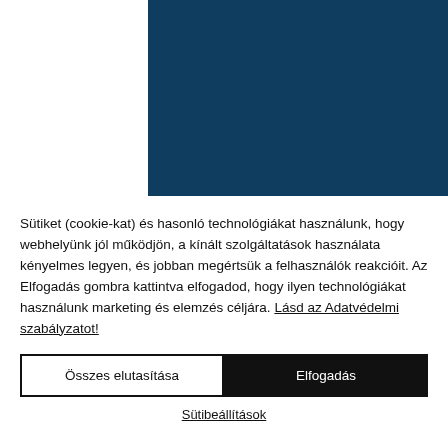[Figure (other): Dark navy blue rectangle filling the upper-right portion of the page, representing a website header or image block.]
Sütiket (cookie-kat) és hasonló technológiákat használunk, hogy webhelyünk jól működjön, a kínált szolgáltatások használata kényelmes legyen, és jobban megértsük a felhasználók reakcióit. Az Elfogadás gombra kattintva elfogadod, hogy ilyen technológiákat használunk marketing és elemzés céljára. Lásd az Adatvédelmi szabályzatot!
Összes elutasítása
Elfogadás
Sütibeállítások